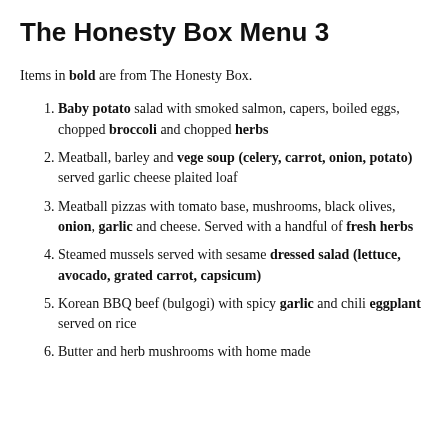The Honesty Box Menu 3
Items in bold are from The Honesty Box.
Baby potato salad with smoked salmon, capers, boiled eggs, chopped broccoli and chopped herbs
Meatball, barley and vege soup (celery, carrot, onion, potato) served garlic cheese plaited loaf
Meatball pizzas with tomato base, mushrooms, black olives, onion, garlic and cheese. Served with a handful of fresh herbs
Steamed mussels served with sesame dressed salad (lettuce, avocado, grated carrot, capsicum)
Korean BBQ beef (bulgogi) with spicy garlic and chili eggplant served on rice
Butter and herb mushrooms with home made